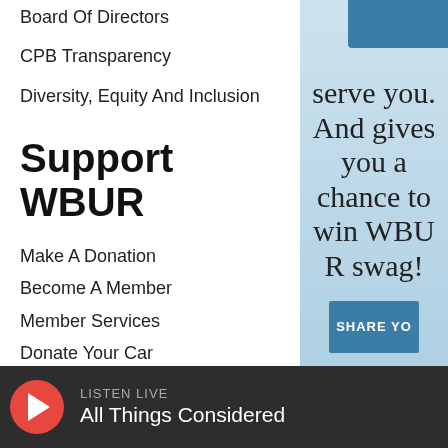Board Of Directors
CPB Transparency
Diversity, Equity And Inclusion
Support WBUR
Make A Donation
Become A Member
Member Services
Donate Your Car
Join The Murrow Society
Become A Sponsor
serve you. And gives you a chance to win WBUR swag!
SHARE YO
LISTEN LIVE
All Things Considered